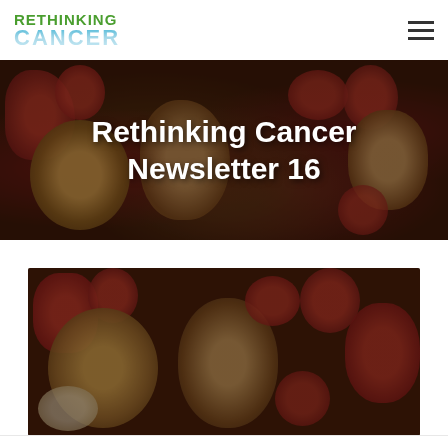RETHINKING CANCER
[Figure (photo): Hero banner with vegetables (onions, tomatoes, peppers) background, darkened overlay, with large white bold title text 'Rethinking Cancer Newsletter 16']
Rethinking Cancer Newsletter 16
[Figure (photo): Second photo of vegetables (onions, cherry tomatoes, red peppers) with dark overlay, positioned below the hero section]